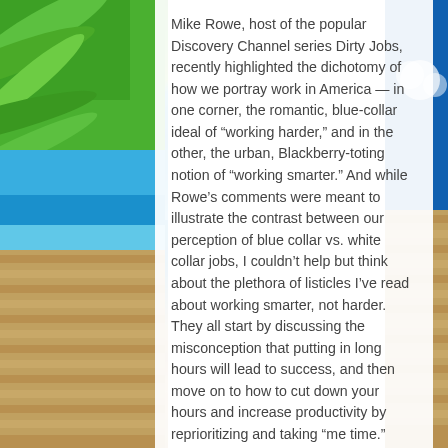[Figure (photo): Background photo collage: tropical beach scene with palm leaves (green) on the left top, blue sky and ocean in the middle-left, wooden boardwalk/dock planks on the lower left and lower right, and bright blue sky on the upper right.]
Mike Rowe, host of the popular Discovery Channel series Dirty Jobs, recently highlighted the dichotomy of how we portray work in America — in one corner, the romantic, blue-collar ideal of “working harder,” and in the other, the urban, Blackberry-toting notion of “working smarter.” And while Rowe’s comments were meant to illustrate the contrast between our perception of blue collar vs. white collar jobs, I couldn’t help but think about the plethora of listicles I’ve read about working smarter, not harder. They all start by discussing the misconception that putting in long hours will lead to success, and then move on to how to cut down your hours and increase productivity by reprioritizing and taking “me time.” The problem with the working hard vs.